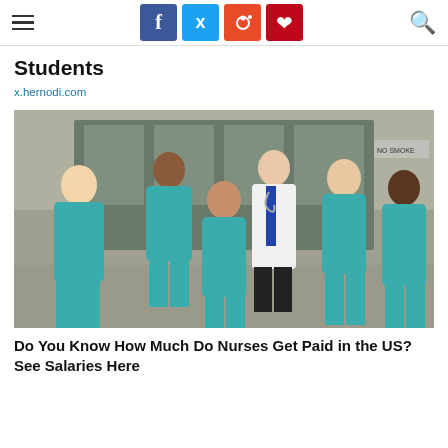Students | x.hernodi.com — with social share icons (Facebook, Twitter, Reddit, Pinterest) and search
Students
x.hernodi.com
[Figure (photo): Group photo of five nursing students in teal scrubs and one doctor in a white lab coat with a blue tie, posing in front of a building entrance]
Do You Know How Much Do Nurses Get Paid in the US? See Salaries Here